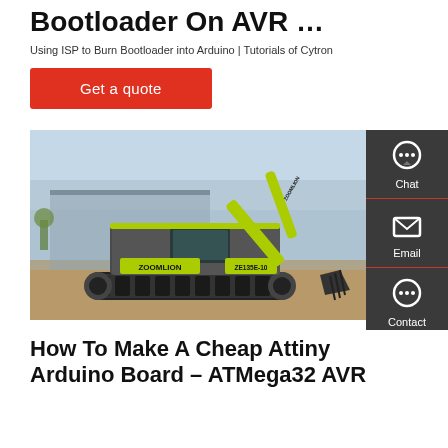Bootloader On AVR …
Using ISP to Burn Bootloader into Arduino | Tutorials of Cytron
[Figure (other): Red 'Get a quote' button]
[Figure (photo): Photo of a Zoomlion ZE135E-10 excavator on a construction site, labeled ZOOMLION with yellow-green arm]
How To Make A Cheap Attiny Arduino Board – ATMega32 AVR